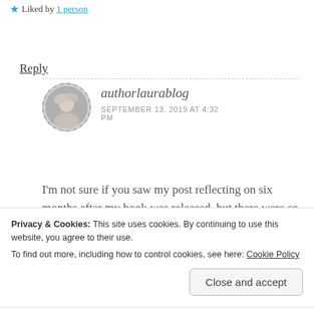★ Liked by 1 person
Reply
authorlaurablog
SEPTEMBER 13, 2019 AT 4:32 PM
I'm not sure if you saw my post reflecting on six months after my book was released, but there were so many
Privacy & Cookies: This site uses cookies. By continuing to use this website, you agree to their use.
To find out more, including how to control cookies, see here: Cookie Policy
Close and accept